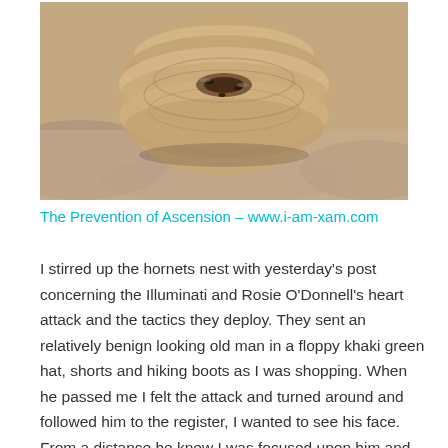[Figure (photo): Close-up photograph of what appears to be a hornets nest or wasp nest, showing layered papery texture in brown/tan tones, set against a rocky or stone background.]
The Prevention of Ascension – www.i-am-xam.com
I stirred up the hornets nest with yesterday's post concerning the Illuminati and Rosie O'Donnell's heart attack and the tactics they deploy. They sent an relatively benign looking old man in a floppy khaki green hat, shorts and hiking boots as I was shopping. When he passed me I felt the attack and turned around and followed him to the register, I wanted to see his face. From a distance he knew I was focused upon him and he looked at me with a bit of a concerned look on his face. I uttered a phrase asking consciousness for retribution and walked away. I will begin to take pictures